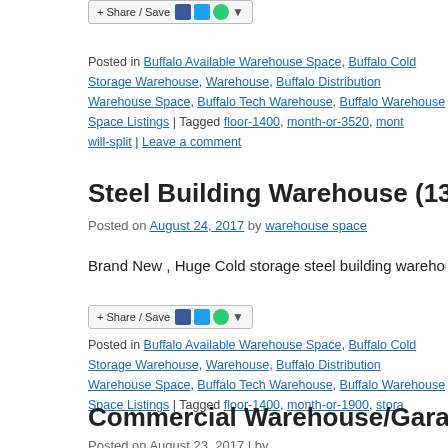[Figure (other): Share/Save social sharing button with Facebook, Twitter, and other icons]
Posted in Buffalo Available Warehouse Space, Buffalo Cold Storage Warehouse, Buffalo Distribution Warehouse Space, Buffalo Tech Warehouse, Buffalo Warehouse Space Listings | Tagged floor-1400, month-or-3520, mont... will-split | Leave a comment
Steel Building Warehouse (1386 Lovejoy...
Posted on August 24, 2017 by warehouse space
Brand New , Huge Cold storage steel building warehouse… Co...
[Figure (other): Share/Save social sharing button with Facebook, Twitter, and other icons]
Posted in Buffalo Available Warehouse Space, Buffalo Cold Storage Warehouse, Buffalo Distribution Warehouse Space, Buffalo Tech Warehouse, Buffalo Warehouse Space Listings | Tagged floor-1400, month-or-1900, stora...
Commercial Warehouse/Garage Space (L...
Posted on August 23, 2017 | by...